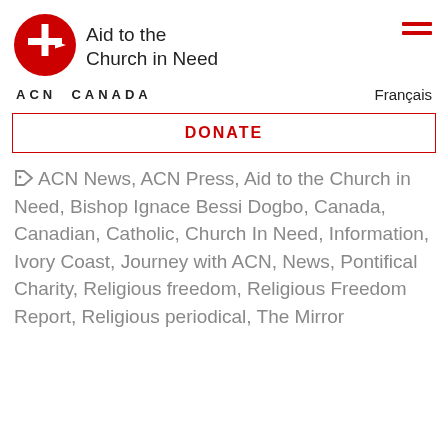[Figure (logo): ACN Aid to the Church in Need Canada logo — red circle with white cross and right-pointing arrow]
Aid to the Church in Need
ACN CANADA
Français
DONATE
ACN News, ACN Press, Aid to the Church in Need, Bishop Ignace Bessi Dogbo, Canada, Canadian, Catholic, Church In Need, Information, Ivory Coast, Journey with ACN, News, Pontifical Charity, Religious freedom, Religious Freedom Report, Religious periodical, The Mirror